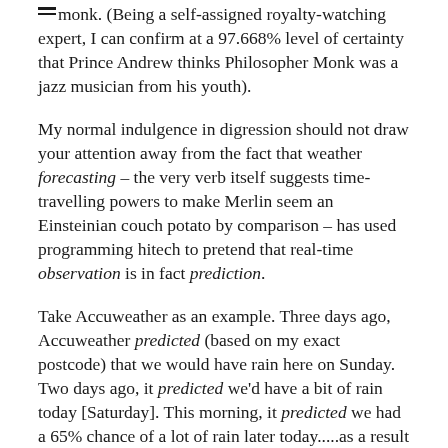monk. (Being a self-assigned royalty-watching expert, I can confirm at a 97.668% level of certainty that Prince Andrew thinks Philosopher Monk was a jazz musician from his youth).
My normal indulgence in digression should not draw your attention away from the fact that weather forecasting – the very verb itself suggests time-travelling powers to make Merlin seem an Einsteinian couch potato by comparison – has used programming hitech to pretend that real-time observation is in fact prediction.
Take Accuweather as an example. Three days ago, Accuweather predicted (based on my exact postcode) that we would have rain here on Sunday. Two days ago, it predicted we'd have a bit of rain today [Saturday]. This morning, it predicted we had a 65% chance of a lot of rain later today.....as a result of which I charged about the garden burning waste, lopping ash hedging, bringing tools under cover, hacking overgrown creepers, putting their remains on